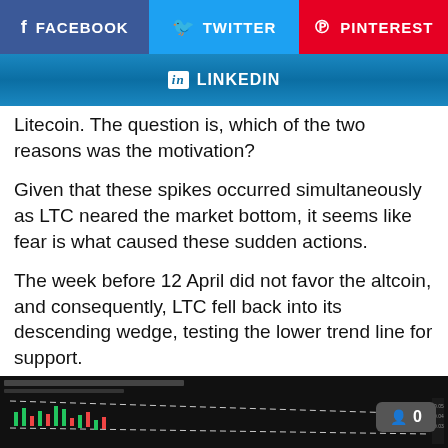[Figure (infographic): Social media share buttons: Facebook (blue), Twitter (cyan), Pinterest (red), and LinkedIn (blue gradient) buttons]
Litecoin. The question is, which of the two reasons was the motivation?
Given that these spikes occurred simultaneously as LTC neared the market bottom, it seems like fear is what caused these sudden actions.
The week before 12 April did not favor the altcoin, and consequently, LTC fell back into its descending wedge, testing the lower trend line for support.
[Figure (screenshot): Candlestick chart screenshot showing LTC price with descending wedge pattern, with a user count badge showing 0]